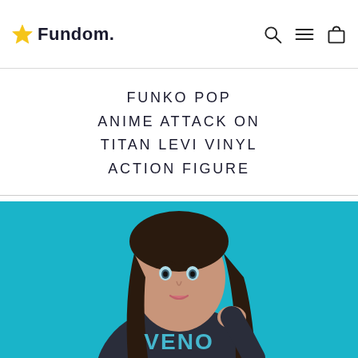Fundom.
FUNKO POP ANIME ATTACK ON TITAN LEVI VINYL ACTION FIGURE
[Figure (photo): Young woman with dark hair wearing a dark navy long-sleeve Venom graphic shirt, posing against a bright teal/cyan background.]